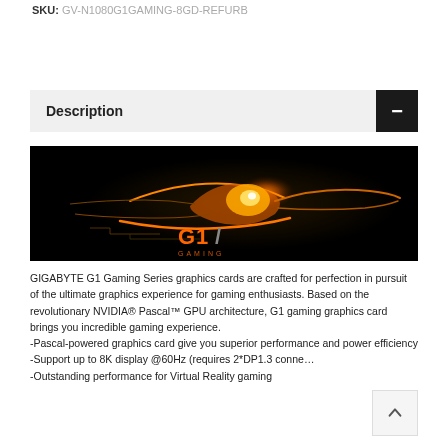SKU: GV-N1080G1GAMING-8GD-REFURB
Description
[Figure (photo): GIGABYTE G1 Gaming Series logo on dark background with glowing orange eye/lightning design]
GIGABYTE G1 Gaming Series graphics cards are crafted for perfection in pursuit of the ultimate graphics experience for gaming enthusiasts. Based on the revolutionary NVIDIA® Pascal™ GPU architecture, G1 gaming graphics card brings you incredible gaming experience.
-Pascal-powered graphics card give you superior performance and power efficiency
-Support up to 8K display @60Hz (requires 2*DP1.3 conne...
-Outstanding performance for Virtual Reality gaming